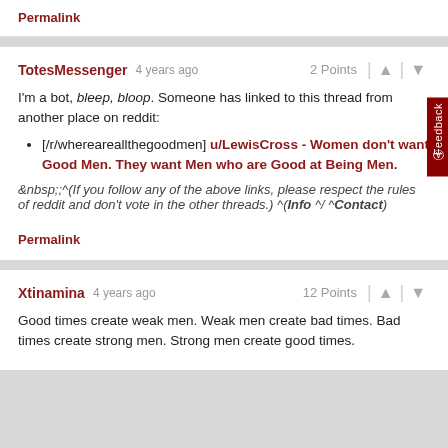Permalink
TotesMessenger 4 years ago  2 Points
I'm a bot, bleep, bloop. Someone has linked to this thread from another place on reddit:
[/r/whereareallthegoodmen] u/LewisCross - Women don't want Good Men. They want Men who are Good at Being Men.
&nbsp;^(If you follow any of the above links, please respect the rules of reddit and don't vote in the other threads.) ^(Info ^/ ^Contact)
Permalink
Xtinamina 4 years ago  12 Points
Good times create weak men. Weak men create bad times. Bad times create strong men. Strong men create good times.